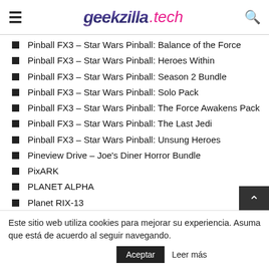geekzilla.tech
Pinball FX3 – Star Wars Pinball: Balance of the Force
Pinball FX3 – Star Wars Pinball: Heroes Within
Pinball FX3 – Star Wars Pinball: Season 2 Bundle
Pinball FX3 – Star Wars Pinball: Solo Pack
Pinball FX3 – Star Wars Pinball: The Force Awakens Pack
Pinball FX3 – Star Wars Pinball: The Last Jedi
Pinball FX3 – Star Wars Pinball: Unsung Heroes
Pineview Drive – Joe's Diner Horror Bundle
PixARK
PLANET ALPHA
Planet RIX-13
Police Chase – City Patrol: Police
Este sitio web utiliza cookies para mejorar su experiencia. Asuma que está de acuerdo al seguir navegando.